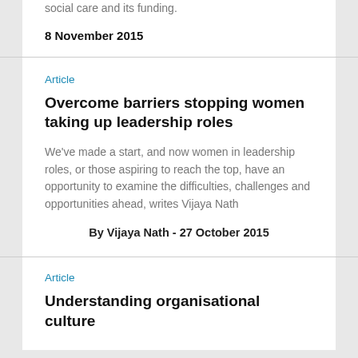social care and its funding.
8 November 2015
Article
Overcome barriers stopping women taking up leadership roles
We've made a start, and now women in leadership roles, or those aspiring to reach the top, have an opportunity to examine the difficulties, challenges and opportunities ahead, writes Vijaya Nath
By Vijaya Nath - 27 October 2015
Article
Understanding organisational culture